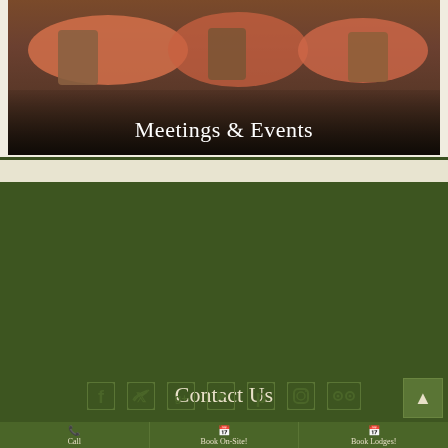[Figure (photo): Photo of a restaurant/event room with round tables covered in orange tablecloths and chairs, overlaid with text 'Meetings & Events']
Meetings & Events
Contact Us
Inn & Spa at Cedar Falls
21190 State Route 374
Logan, Ohio 43138
Phone: (740)-385-7489
info@innatcedarfalls.com
[Figure (infographic): Row of social media icons: Facebook, Twitter, Google+, YouTube, Pinterest, Instagram, TripAdvisor]
Call | Book On-Site! | Book Lodges!